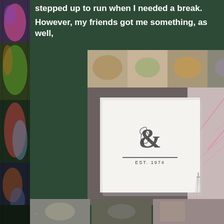stepped up to run when I needed a break.
However, my friends got me something, as well,
[Figure (photo): White gift box with Dungeons & Dragons ampersand logo and 'EST. 1974' text, with a silver tassel, placed on a surface with a D&D themed background]
[Figure (photo): Bottom thumbnails row showing partial images]
[Figure (illustration): Colorful fantasy art strip on the left side of the page]